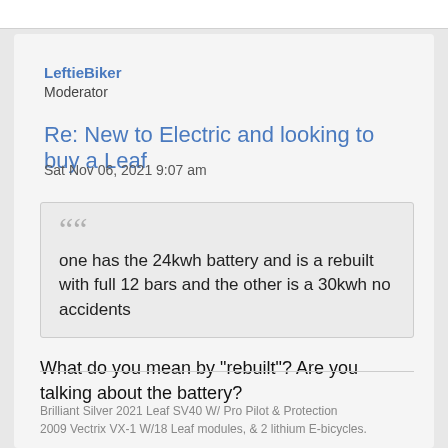LeftieBiker
Moderator
Re: New to Electric and looking to buy a Leaf
Sat Nov 06, 2021 9:07 am
one has the 24kwh battery and is a rebuilt with full 12 bars and the other is a 30kwh no accidents
What do you mean by "rebuilt"? Are you talking about the battery?
Brilliant Silver 2021 Leaf SV40 W/ Pro Pilot & Protection 2009 Vectrix VX-1 W/18 Leaf modules, & 2 lithium E-bicycles.